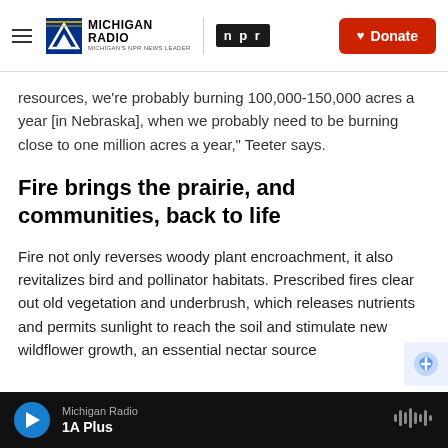Michigan Radio | NPR | Donate
resources, we're probably burning 100,000-150,000 acres a year [in Nebraska], when we probably need to be burning close to one million acres a year," Teeter says.
Fire brings the prairie, and communities, back to life
Fire not only reverses woody plant encroachment, it also revitalizes bird and pollinator habitats. Prescribed fires clear out old vegetation and underbrush, which releases nutrients and permits sunlight to reach the soil and stimulate new wildflower growth, an essential nectar source
Michigan Radio | 1A Plus